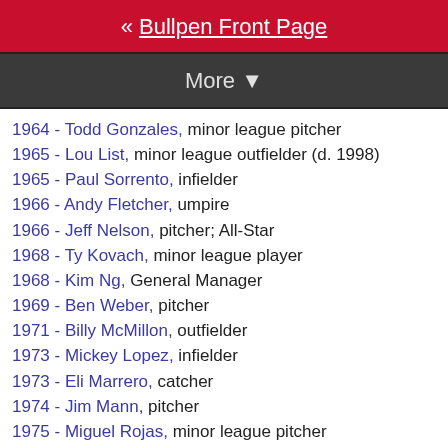« Bullpen Front Page
More ▼
1964 - Todd Gonzales, minor league pitcher
1965 - Lou List, minor league outfielder (d. 1998)
1965 - Paul Sorrento, infielder
1966 - Andy Fletcher, umpire
1966 - Jeff Nelson, pitcher; All-Star
1968 - Ty Kovach, minor league player
1968 - Kim Ng, General Manager
1969 - Ben Weber, pitcher
1971 - Billy McMillon, outfielder
1973 - Mickey Lopez, infielder
1973 - Eli Marrero, catcher
1974 - Jim Mann, pitcher
1975 - Miguel Rojas, minor league pitcher
1975 - Jay Yennaco, minor league pitcher
1977 - Jon Berry, minor league pitcher
1977 - Alex Graman, pitcher
1978 - Adam Pelicioni, minor league pitcher